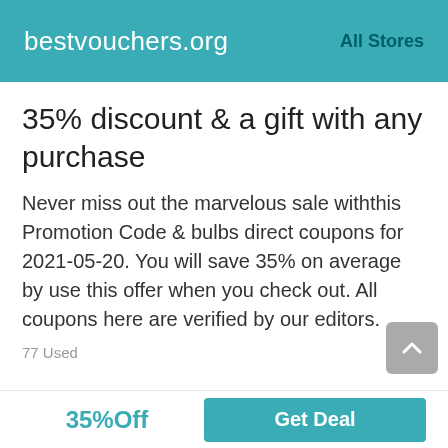bestvouchers.org   All Stores
35% discount & a gift with any purchase
Never miss out the marvelous sale withthis Promotion Code & bulbs direct coupons for 2021-05-20. You will save 35% on average by use this offer when you check out. All coupons here are verified by our editors.
77 Used
35%Off   Get Deal